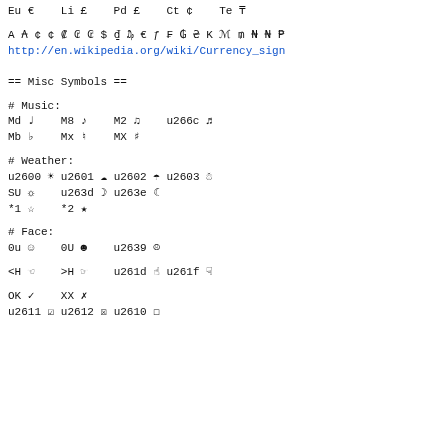Eu €    Li £    Pd £    Ct ¢    Te ₸
A ₳ ¢ ¢ ₡ ₢ ₢ $ ₫ ₯ € ƒ ₣ ₲ ₴ K ℳ ₥ ₦ ₦ ₱
http://en.wikipedia.org/wiki/Currency_sign
== Misc Symbols ==
# Music:
Md ♩    M8 ♪    M2 ♫    u266c ♬
Mb ♭    Mx ♮    MX ♯
# Weather:
u2600 ☀ u2601 ☁ u2602 ☂ u2603 ☃
SU ☼    u263d ☽ u263e ☾
*1 ☆    *2 ★
# Face:
0u ☺    0U ☻    u2639 ☹
<H ☜    >H ☞    u261d ☝ u261f ☟
OK ✓    XX ✗
u2611 ☑ u2612 ☒ u2610 ☐